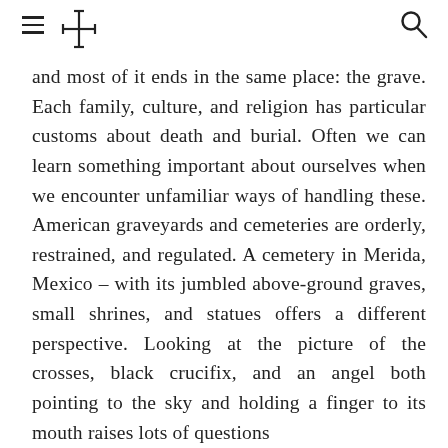≡ ✛ [search icon]
and most of it ends in the same place: the grave. Each family, culture, and religion has particular customs about death and burial. Often we can learn something important about ourselves when we encounter unfamiliar ways of handling these. American graveyards and cemeteries are orderly, restrained, and regulated. A cemetery in Merida, Mexico – with its jumbled above-ground graves, small shrines, and statues offers a different perspective. Looking at the picture of the crosses, black crucifix, and an angel both pointing to the sky and holding a finger to its mouth raises lots of questions